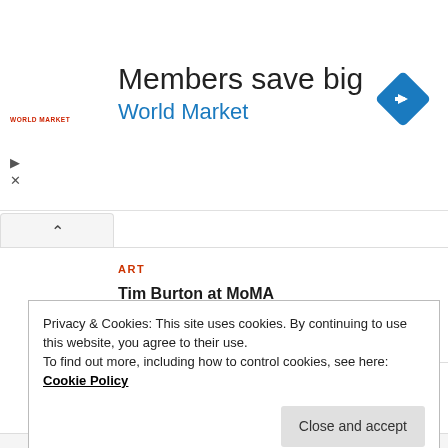[Figure (screenshot): World Market advertisement banner with logo text 'World Market', headline 'Members save big', subheadline 'World Market' in blue, and a blue diamond navigation icon on the right.]
ART
Tim Burton at MoMA
ARCHITECTURE
Paul Bril's Restored Paintings in the San Silvestro Chapel at Rome's Sancta Sanctorum
Privacy & Cookies: This site uses cookies. By continuing to use this website, you agree to their use.
To find out more, including how to control cookies, see here: Cookie Policy
Close and accept